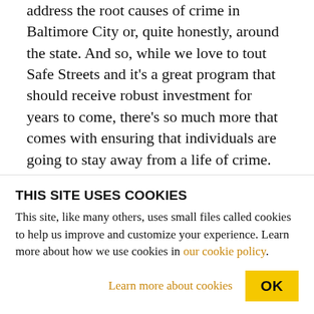address the root causes of crime in Baltimore City or, quite honestly, around the state. And so, while we love to tout Safe Streets and it's a great program that should receive robust investment for years to come, there's so much more that comes with ensuring that individuals are going to stay away from a life of crime. And a very simple formula is to provide them access to economic opportunities.
These communities where we're spending the most in terms of investing in police officers, the most in
THIS SITE USES COOKIES
This site, like many others, uses small files called cookies to help us improve and customize your experience. Learn more about how we use cookies in our cookie policy.
Learn more about cookies